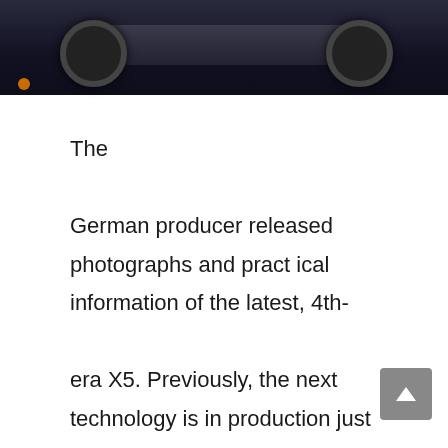[Figure (photo): Top portion of a dark-colored BMW X5 SUV photographed at night or in low light, showing the rear wheels and lower body against a dark background. An orange indicator light is visible on the lower left.]
The German producer released photographs and practical information of the latest, 4th-era X5. Previously, the next technology is in production just for five years. That is two years reduced than the first and second generation, which survived 7 yrs every in the marketplace. When compared to the predecessor, the new 2021 BMW X5 DRIVE will probably be 1,5 in. Lengthier and